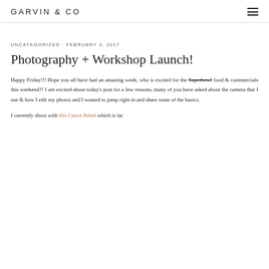GARVIN & CO
UNCATEGORIZED · FEBRUARY 3, 2017
Photography + Workshop Launch!
Happy Friday!!! Hope you all have had an amazing week, who is excited for the Superbowl food & commercials this weekend?! I am excited about today's post for a few reasons, many of you have asked about the camera that I use & how I edit my photos and I wanted to jump right in and share some of the basics.
I currently shoot with this Canon Rebel which is far